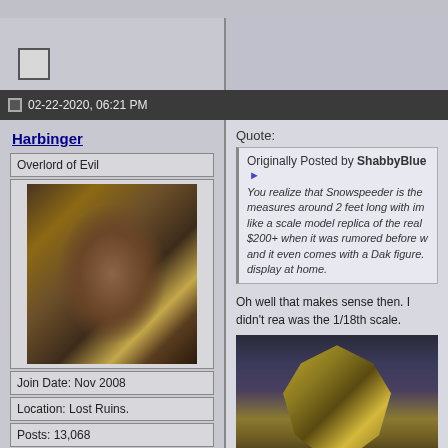02-22-2020, 06:21 PM
Harbinger
Overlord of Evil
[Figure (illustration): Avatar image of a dark-haired comic book character with gold armor]
Join Date: Nov 2008
Location: Lost Ruins.
Posts: 13,068
Quote:
Originally Posted by ShabbyBlue ► You realize that Snowspeeder is the measures around 2 feet long with im like a scale model replica of the real $200+ when it was rumored before w and it even comes with a Dak figure. display at home.
Oh well that makes sense then. I didn't rea was the 1/18th scale.
[Figure (illustration): Comic book illustration of an armored superhero character with gold and green helmet/armor]